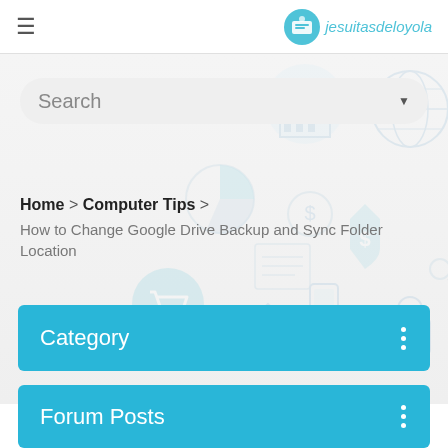jesuitasdeloyola
[Figure (illustration): Light blue tech/finance background illustration with icons: shield with dollar sign, shopping cart, pie chart, coins, globe, padlock, hand holding phone, keys, network illustration]
Search
Home > Computer Tips > How to Change Google Drive Backup and Sync Folder Location
Category
Forum Posts